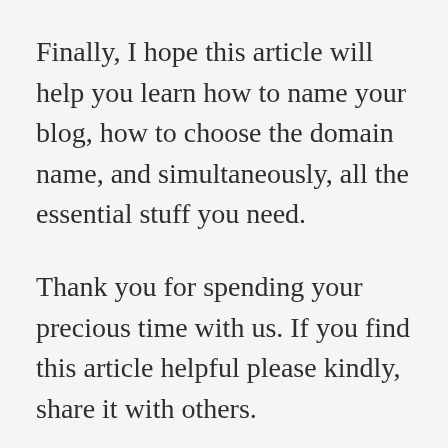Finally, I hope this article will help you learn how to name your blog, how to choose the domain name, and simultaneously, all the essential stuff you need.
Thank you for spending your precious time with us. If you find this article helpful please kindly, share it with others.
If you feel that I have missed any topics related to lifestyle blog name ideas, kindly comment in the comment box, or send